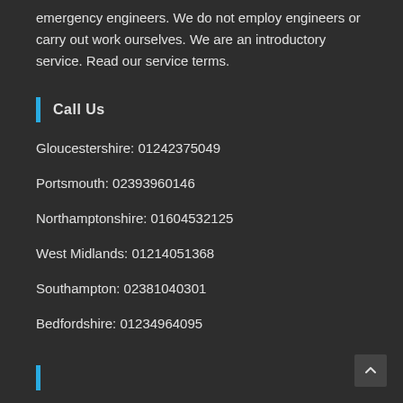emergency engineers. We do not employ engineers or carry out work ourselves. We are an introductory service. Read our service terms.
Call Us
Gloucestershire: 01242375049
Portsmouth: 02393960146
Northamptonshire: 01604532125
West Midlands: 01214051368
Southampton: 02381040301
Bedfordshire: 01234964095